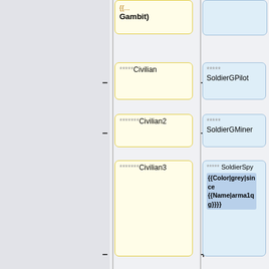[Figure (flowchart): A wiki diff/comparison view showing a tree of nodes. Left column shows yellow boxes with 'Civilian' entries being removed (minus signs). Right column shows blue boxes with 'Soldier' and 'Civilian' entries being added (plus signs). Rows include: Gambit (partial), Civilian/SoldierGPilot, Civilian2/SoldierGMiner, Civilian3/SoldierSpy with template markup, Civilian4/Civilian, Civilian5/Civilian2, Civilian6/Civilian3, Civilian7/Civilian4, Civilian8/Civilian5, Civilian9/Civilian6.]